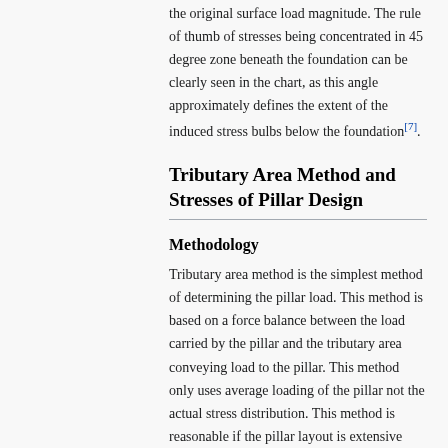the original surface load magnitude. The rule of thumb of stresses being concentrated in 45 degree zone beneath the foundation can be clearly seen in the chart, as this angle approximately defines the extent of the induced stress bulbs below the foundation[7].
Tributary Area Method and Stresses of Pillar Design
Methodology
Tributary area method is the simplest method of determining the pillar load. This method is based on a force balance between the load carried by the pillar and the tributary area conveying load to the pillar. This method only uses average loading of the pillar not the actual stress distribution. This method is reasonable if the pillar layout is extensive otherwise this estimate is generally too high because of the arching of stresses from abundant pillars. The following picture show the methodology for determining the tributary area[7]: